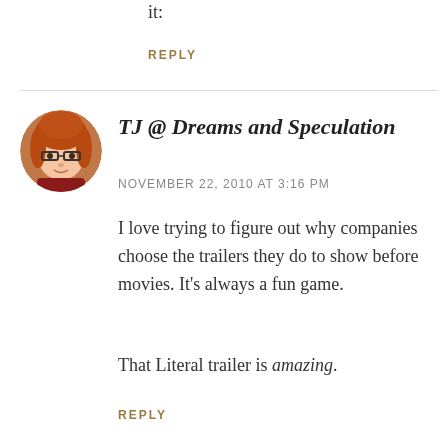it:
REPLY
TJ @ Dreams and Speculation
NOVEMBER 22, 2010 AT 3:16 PM
I love trying to figure out why companies choose the trailers they do to show before movies. It's always a fun game.
That Literal trailer is amazing.
REPLY